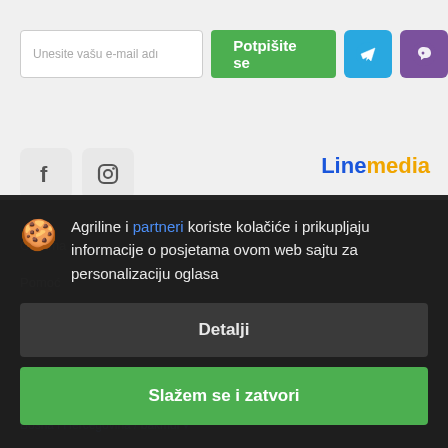[Figure (screenshot): Email subscription input field with placeholder 'Unesite vašu e-mail adı']
[Figure (screenshot): Green subscribe button labeled 'Potpišite se']
[Figure (screenshot): Blue Telegram icon button and purple Viber icon button]
[Figure (logo): Linemedia logo with blue 'Line' and yellow 'media' text]
[Figure (screenshot): Facebook and Instagram social media icon buttons]
Preduz
O nama
Pomoć
Kontakt
[Figure (screenshot): Cookie consent overlay with cookie emoji, text about Agriline i partneri koriste kolačiće, Detalji button, and Slažem se i zatvori button]
Agriline i partneri koriste kolačiće i prikupljaju informacije o posjetama ovom web sajtu za personalizaciju oglasa
Detalji
Slažem se i zatvori
Bosna i Hercegovina / bakmdi →